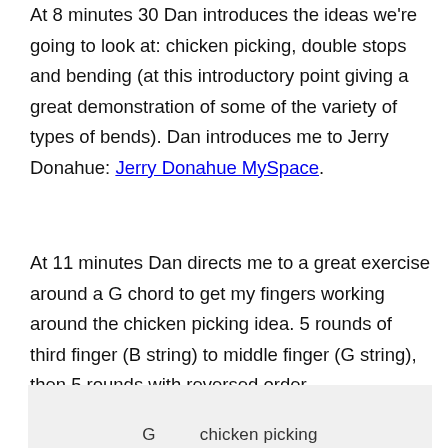At 8 minutes 30 Dan introduces the ideas we're going to look at:  chicken picking, double stops and bending (at this introductory point giving a great demonstration of some of the variety of types of bends).  Dan introduces me to Jerry Donahue: Jerry Donahue MySpace.
At 11 minutes Dan directs me to a great exercise around a G chord to get my fingers working around the chicken picking idea.  5 rounds of third finger (B string) to middle finger (G string), then 5 rounds with reversed order.
[Figure (other): Bottom image area with caption text starting with 'G...' partially visible, on a light grey background.]